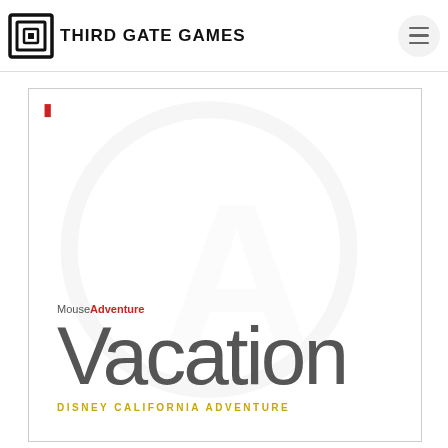[Figure (logo): Third Gate Games logo: square maze-like icon and bold uppercase text 'THIRD GATE GAMES']
[Figure (illustration): MouseAdventure Vacation Disney California Adventure product image with large gray 'Vacation' text, 'MouseAdventure' label in gray/red, subtitle 'DISNEY CALIFORNIA ADVENTURE' in gold/yellow, and a faint circular watermark with letter A in background]